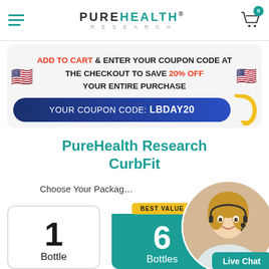PUREHEALTH RESEARCH
[Figure (infographic): Promotional banner: ADD TO CART & ENTER YOUR COUPON CODE AT THE CHECKOUT TO SAVE 20% OFF YOUR ENTIRE PURCHASE. Coupon code: LBDAY20. American flag emojis on left and right. Yellow arrow pointing down.]
PureHealth Research CurbFit
Choose Your Package
[Figure (infographic): Package selection cards: 1 Bottle card (white bordered) and 6 Bottles card (teal, BEST VALUE badge)]
[Figure (photo): Circular photo of a blonde woman wearing a headset/earpiece, customer service representative, with a Live Chat button below]